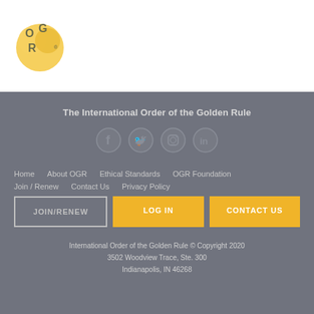[Figure (logo): OGR logo - circular yellow/gold badge with letters O, G, R in overlapping circles]
The International Order of the Golden Rule
[Figure (infographic): Social media icons: Facebook, Twitter, Instagram, LinkedIn - all in gray circles]
Home   About OGR   Ethical Standards   OGR Foundation
Join / Renew   Contact Us   Privacy Policy
JOIN/RENEW   LOG IN   CONTACT US
International Order of the Golden Rule © Copyright 2020
3502 Woodview Trace, Ste. 300
Indianapolis, IN 46268